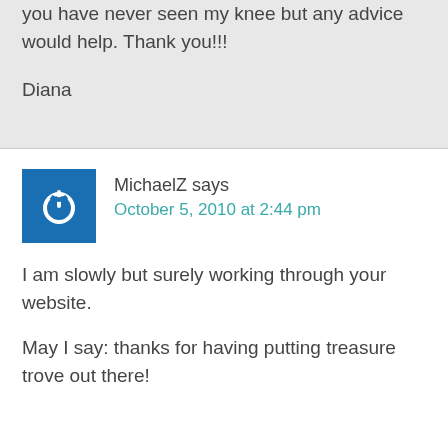Again. I know this is not a full question considering you have never seen my knee but any advice would help. Thank you!!!
Diana
MichaelZ says
October 5, 2010 at 2:44 pm
I am slowly but surely working through your website.
May I say: thanks for having putting treasure trove out there!